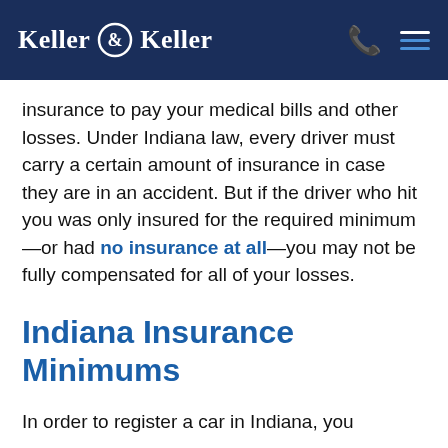Keller & Keller
insurance to pay your medical bills and other losses. Under Indiana law, every driver must carry a certain amount of insurance in case they are in an accident. But if the driver who hit you was only insured for the required minimum—or had no insurance at all—you may not be fully compensated for all of your losses.
Indiana Insurance Minimums
In order to register a car in Indiana, you